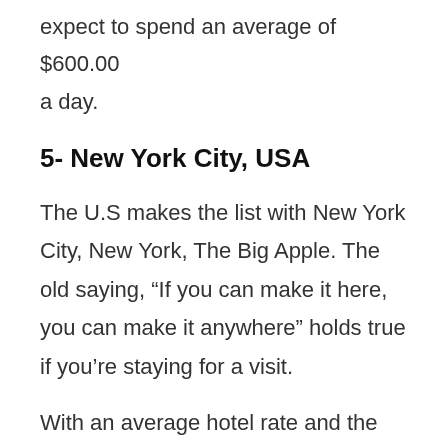expect to spend an average of $600.00 a day.
5- New York City, USA
The U.S makes the list with New York City, New York, The Big Apple. The old saying, “If you can make it here, you can make it anywhere” holds true if you’re staying for a visit.
With an average hotel rate and the New York nightlife expect to dole out about $495.00.